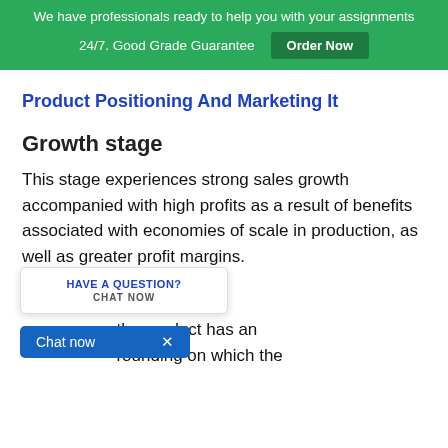We have professionals ready to help you with your assignments 24/7. Good Grade Guarantee  Order Now
Product Positioning And Marketing It
Growth stage
This stage experiences strong sales growth accompanied with high profits as a result of benefits associated with economies of scale in production, as well as greater profit margins.
Maturity stage
the product has an rounding on which the